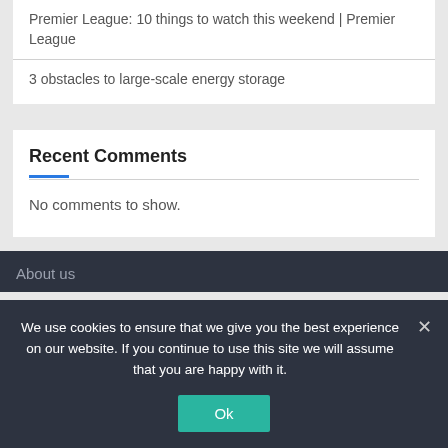Premier League: 10 things to watch this weekend | Premier League
3 obstacles to large-scale energy storage
Recent Comments
No comments to show.
About us
We use cookies to ensure that we give you the best experience on our website. If you continue to use this site we will assume that you are happy with it.